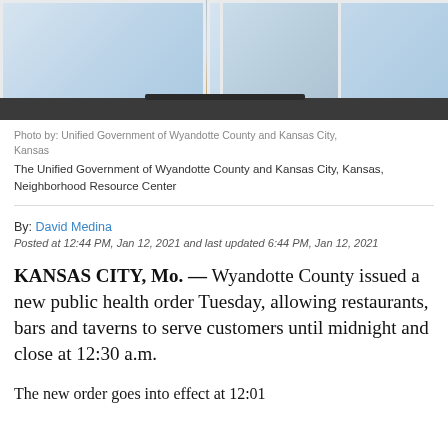[Figure (photo): Exterior glass doors of the Unified Government of Wyandotte County and Kansas City, Kansas Neighborhood Resource Center]
Photo by: Unified Government of Wyandotte County and Kansas City, Kansas
The Unified Government of Wyandotte County and Kansas City, Kansas, Neighborhood Resource Center
By: David Medina
Posted at 12:44 PM, Jan 12, 2021 and last updated 6:44 PM, Jan 12, 2021
KANSAS CITY, Mo.  — Wyandotte County issued a new public health order Tuesday, allowing restaurants, bars and taverns to serve customers until midnight and close at 12:30 a.m.
The new order goes into effect at 12:01...